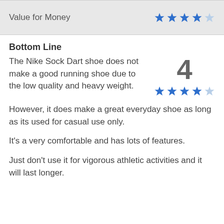Value for Money ★★★★☆
Bottom Line
The Nike Sock Dart shoe does not make a good running shoe due to the low quality and heavy weight.
However, it does make a great everyday shoe as long as its used for casual use only.
It's a very comfortable and has lots of features.
Just don't use it for vigorous athletic activities and it will last longer.